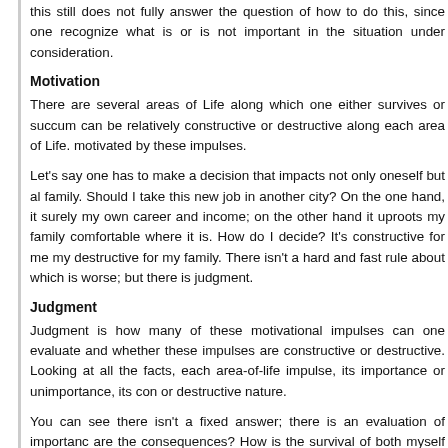this still does not fully answer the question of how to do this, since one recognize what is or is not important in the situation under consideration.
Motivation
There are several areas of Life along which one either survives or succum can be relatively constructive or destructive along each area of Life. motivated by these impulses.
Let’s say one has to make a decision that impacts not only oneself but al family. Should I take this new job in another city? On the one hand, it surely my own career and income; on the other hand it uproots my family comfortable where it is. How do I decide? It’s constructive for me my destructive for my family. There isn’t a hard and fast rule about which is worse; but there is judgment.
Judgment
Judgment is how many of these motivational impulses can one evaluate and whether these impulses are constructive or destructive. Looking at all the facts, each area-of-life impulse, its importance or unimportance, its con or destructive nature.
You can see there isn’t a fixed answer; there is an evaluation of importanc are the consequences? How is the survival of both myself and my family b or harmed by each different decision?
Good judgment then is dependent on recognizing benefit and harm along ev of Life touched by the situation at hand. How fast can you reach a decision